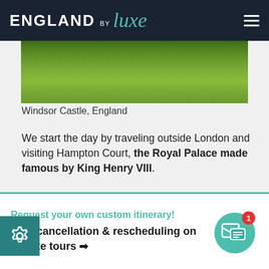ENGLAND by Luxe
[Figure (photo): Grass lawn at Windsor Castle, England — green lawn photo cropped to show grass]
Windsor Castle, England
We start the day by traveling outside London and visiting Hampton Court, the Royal Palace made famous by King Henry VIII.
If you would like to supplement your tour of the Palace with some of our private exclusive offerings then we can provide:
Request your own custom itinerary!
Free cancellation & rescheduling on private tours →